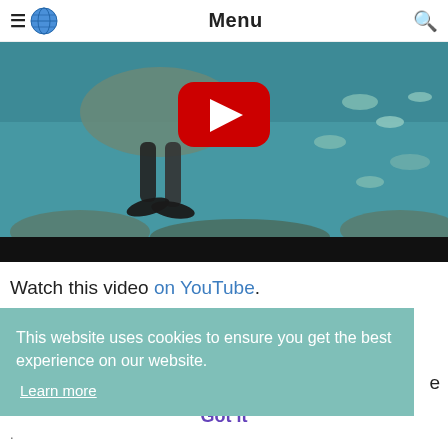Menu
[Figure (screenshot): YouTube video thumbnail showing an underwater aquarium scene with a diver/stingray and fish, with a red YouTube play button overlay and a black bar at the bottom]
Watch this video on YouTube.
This website uses cookies to ensure you get the best experience on our website. Learn more
...e ...fish,
Got it
.